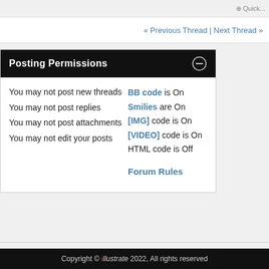« Previous Thread | Next Thread »
Posting Permissions
You may not post new threads
You may not post replies
You may not post attachments
You may not edit your posts
BB code is On
Smilies are On
[IMG] code is On
[VIDEO] code is On
HTML code is Off
Forum Rules
All times are GMT -5. The time now is 09:45 A
Copyright © illustrate 2022, All rights reserved